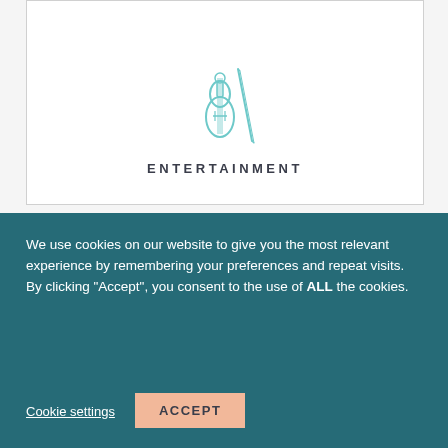[Figure (illustration): Teal outline icon of a violin with a bow, representing entertainment category]
ENTERTAINMENT
[Figure (illustration): Partially visible teal outline icon at the bottom card, category not fully shown]
We use cookies on our website to give you the most relevant experience by remembering your preferences and repeat visits. By clicking “Accept”, you consent to the use of ALL the cookies.
Cookie settings
ACCEPT